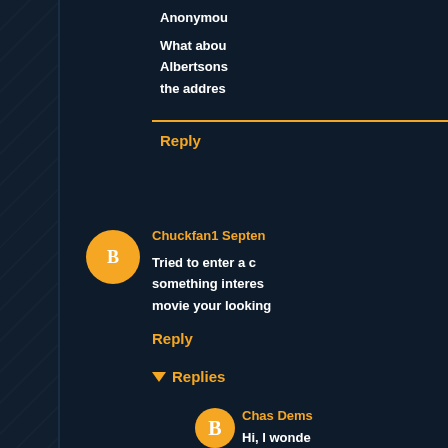Anonymous
What about Albertsons the address
Reply
Chuckfan1 Septen
Tried to enter a c something interes movie your looking
Reply
Replies
Chas Dems
Hi, I wonde Leave it he